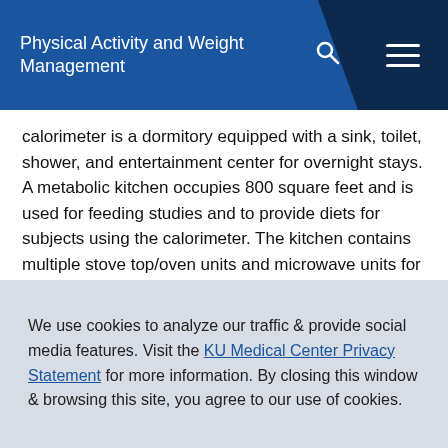Physical Activity and Weight Management
calorimeter is a dormitory equipped with a sink, toilet, shower, and entertainment center for overnight stays. A metabolic kitchen occupies 800 square feet and is used for feeding studies and to provide diets for subjects using the calorimeter. The kitchen contains multiple stove top/oven units and microwave units for food preparation and refrigerators and freezers for food storage.
We use cookies to analyze our traffic & provide social media features. Visit the KU Medical Center Privacy Statement for more information. By closing this window & browsing this site, you agree to our use of cookies.